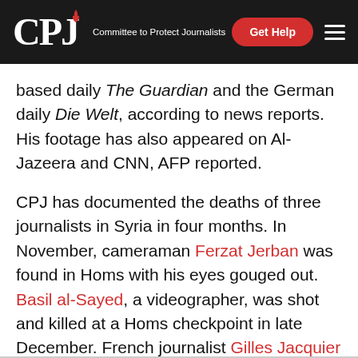CPJ — Committee to Protect Journalists
based daily The Guardian and the German daily Die Welt, according to news reports. His footage has also appeared on Al-Jazeera and CNN, AFP reported.
CPJ has documented the deaths of three journalists in Syria in four months. In November, cameraman Ferzat Jerban was found in Homs with his eyes gouged out. Basil al-Sayed, a videographer, was shot and killed at a Homs checkpoint in late December. French journalist Gilles Jacquier was killed in January while covering a pro-regime rally in Homs.